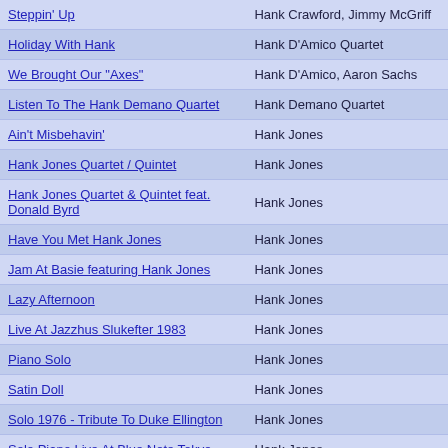| Album | Artist |
| --- | --- |
| Steppin' Up | Hank Crawford, Jimmy McGriff |
| Holiday With Hank | Hank D'Amico Quartet |
| We Brought Our "Axes" | Hank D'Amico, Aaron Sachs |
| Listen To The Hank Demano Quartet | Hank Demano Quartet |
| Ain't Misbehavin' | Hank Jones |
| Hank Jones Quartet / Quintet | Hank Jones |
| Hank Jones Quartet & Quintet feat. Donald Byrd | Hank Jones |
| Have You Met Hank Jones | Hank Jones |
| Jam At Basie featuring Hank Jones | Hank Jones |
| Lazy Afternoon | Hank Jones |
| Live At Jazzhus Slukefter 1983 | Hank Jones |
| Piano Solo | Hank Jones |
| Satin Doll | Hank Jones |
| Solo 1976 - Tribute To Duke Ellington | Hank Jones |
| Solo Piano Live At Blue Note Tokyo | Hank Jones |
| The Essence | Hank Jones |
| The Oracle | Hank Jones |